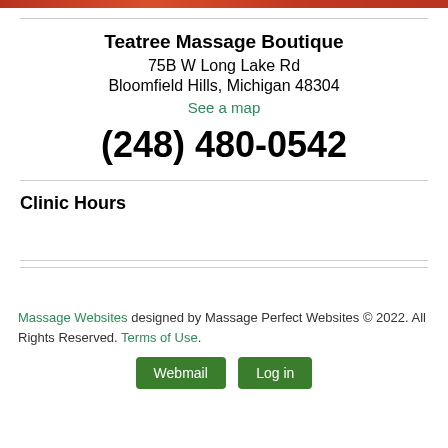[Figure (other): Orange/red decorative banner strip at top]
Teatree Massage Boutique
75B W Long Lake Rd
Bloomfield Hills, Michigan 48304
See a map
(248) 480-0542
Clinic Hours
Massage Websites designed by Massage Perfect Websites © 2022. All Rights Reserved. Terms of Use.
Webmail  Log in